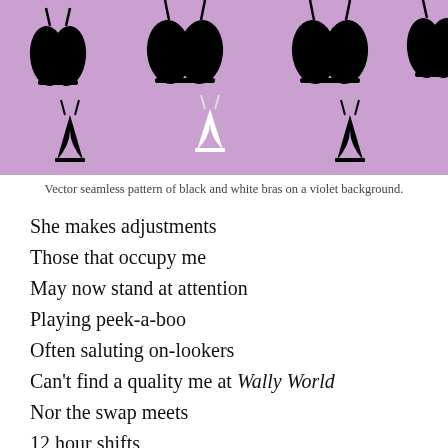[Figure (illustration): Vector seamless pattern of black and white bras on a violet/purple background.]
Vector seamless pattern of black and white bras on a violet background.
She makes adjustments
Those that occupy me
May now stand at attention
Playing peek-a-boo
Often saluting on-lookers
Can't find a quality me at Wally World
Nor the swap meets
12 hour shifts
Don't mind the job so much
They depend on me for help
Carrying what feels like tons
Thank God for the cut backs in '96